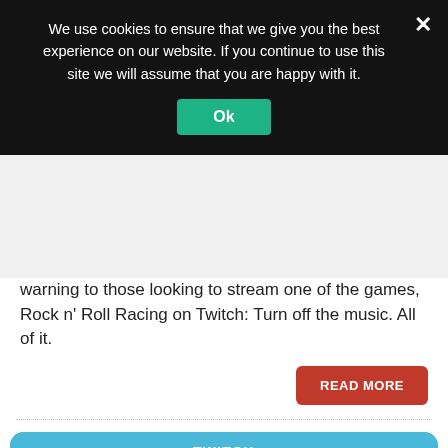We use cookies to ensure that we give you the best experience on our website. If you continue to use this site we will assume that you are happy with it.
warning to those looking to stream one of the games, Rock n' Roll Racing on Twitch: Turn off the music. All of it.
READ MORE
TWITCH
nEo1664 is offline.
Learn more about